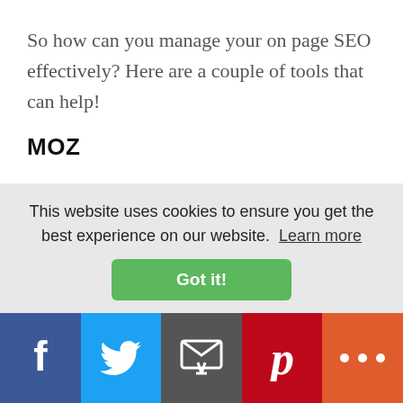So how can you manage your on page SEO effectively? Here are a couple of tools that can help!
MOZ
Moz is the granddaddy of SEO software with tools ranging from On Page Keyword Optimzation to Rank Tracking
This website uses cookies to ensure you get the best experience on our website. Learn more
Got it!